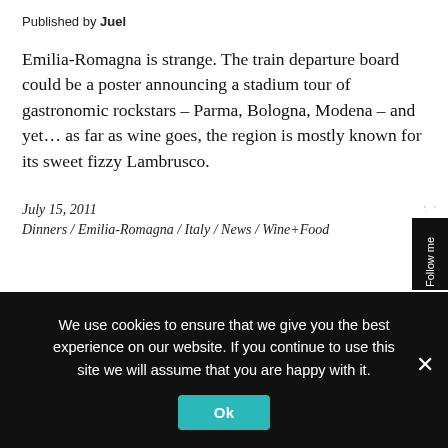Published by Juel
Emilia-Romagna is strange. The train departure board could be a poster announcing a stadium tour of gastronomic rockstars – Parma, Bologna, Modena – and yet… as far as wine goes, the region is mostly known for its sweet fizzy Lambrusco.
July 15, 2011
Dinners / Emilia-Romagna / Italy / News / Wine+Food
We use cookies to ensure that we give you the best experience on our website. If you continue to use this site we will assume that you are happy with it.